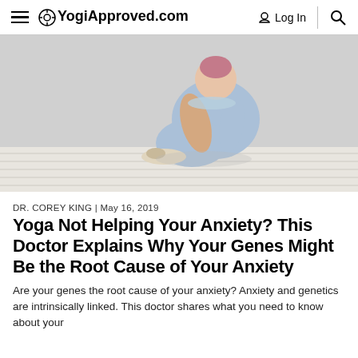YogiApproved.com | Log In
[Figure (photo): A person wearing a light blue off-shoulder outfit sitting on a white wooden floor, hugging their knees with their head down, wearing beige flats. Background is a plain light grey wall.]
DR. COREY KING | May 16, 2019
Yoga Not Helping Your Anxiety? This Doctor Explains Why Your Genes Might Be the Root Cause of Your Anxiety
Are your genes the root cause of your anxiety? Anxiety and genetics are intrinsically linked. This doctor shares what you need to know about your